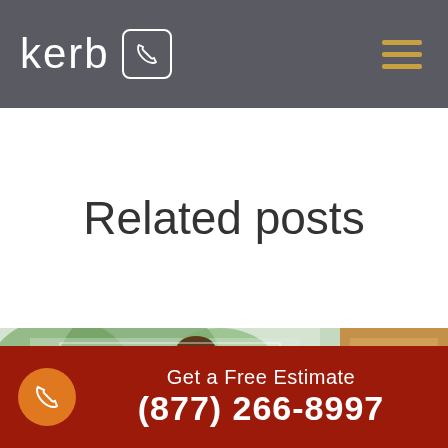kerb
Related posts
[Figure (photo): Man holding his lower back in pain, appearing to have a back injury, with cardboard moving boxes in the background and green trees visible through a window]
Get a Free Estimate
(877) 266-8997